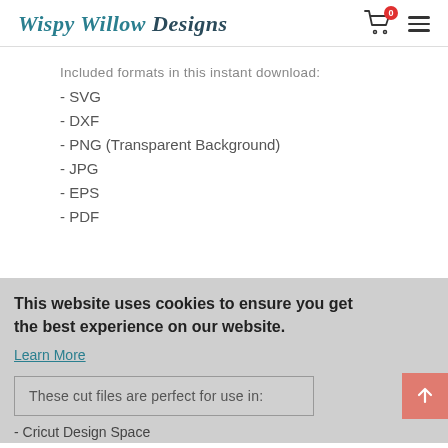Wispy Willow Designs
Included formats in this instant download:
- SVG
- DXF
- PNG (Transparent Background)
- JPG
- EPS
- PDF
This website uses cookies to ensure you get the best experience on our website. Learn More
These cut files are perfect for use in:
- Cricut Design Space
- Silhouette Basic and/or Designer Edition